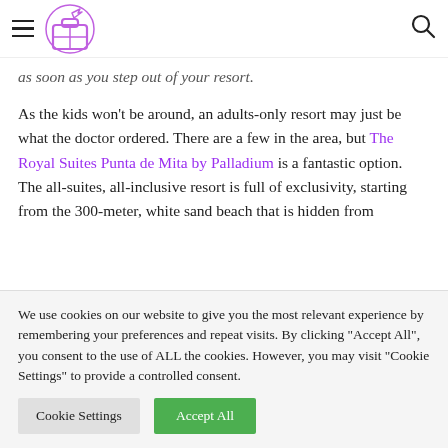[hamburger menu] [travel logo] [search icon]
as soon as you step out of your resort.
As the kids won't be around, an adults-only resort may just be what the doctor ordered. There are a few in the area, but The Royal Suites Punta de Mita by Palladium is a fantastic option. The all-suites, all-inclusive resort is full of exclusivity, starting from the 300-meter, white sand beach that is hidden from
We use cookies on our website to give you the most relevant experience by remembering your preferences and repeat visits. By clicking "Accept All", you consent to the use of ALL the cookies. However, you may visit "Cookie Settings" to provide a controlled consent.